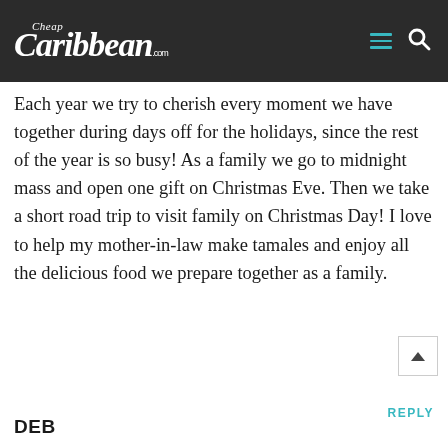Cheap Caribbean .com
Each year we try to cherish every moment we have together during days off for the holidays, since the rest of the year is so busy! As a family we go to midnight mass and open one gift on Christmas Eve. Then we take a short road trip to visit family on Christmas Day! I love to help my mother-in-law make tamales and enjoy all the delicious food we prepare together as a family.
REPLY
DEB